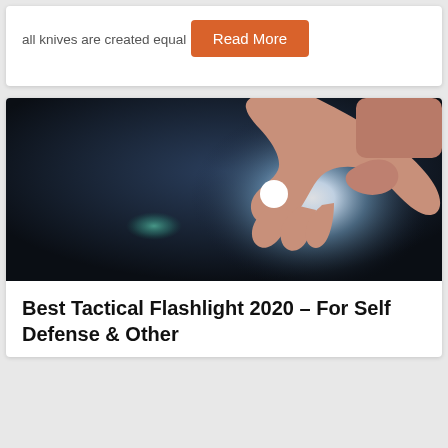all knives are created equal
Read More
[Figure (photo): A hand holding a bright tactical flashlight against a dark background, with a glowing lens and blue-tinted light reflection visible.]
Best Tactical Flashlight 2020 – For Self Defense & Other